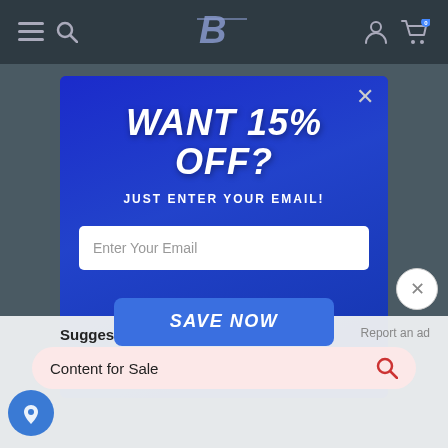[Figure (screenshot): Website navigation bar with dark background, hamburger menu, search icon, stylized B logo in center, person/account icon, and cart icon with badge showing 0]
[Figure (screenshot): Modal popup over blue-tinted dark background with text WANT 15% OFF?, subtitle JUST ENTER YOUR EMAIL!, an email input field, and a SAVE NOW button. Close X in top right.]
WANT 15% OFF?
JUST ENTER YOUR EMAIL!
Enter Your Email
SAVE NOW
Suggested Searches
Report an ad
Content for Sale